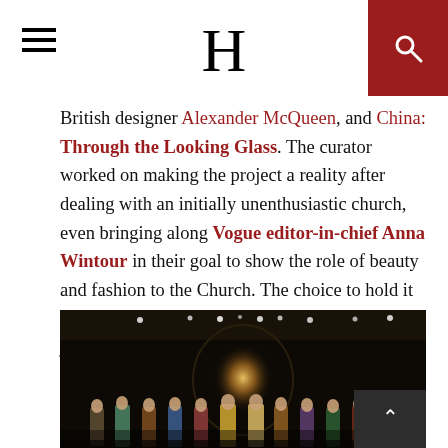H
British designer Alexander McQueen, and China: Through the Looking Glass. The curator worked on making the project a reality after dealing with an initially unenthusiastic church, even bringing along Vogue editor-in-chief Anna Wintour in their goal to show the role of beauty and fashion to the Church. The choice to hold it in two locations had a deeper significance than just allowing the exhibit to be more accessible to people; Bolton said that it was inspired by the Catholic practice of pilgrimage.
[Figure (photo): Dark exhibition hall with ceiling spotlights, a glowing artwork or illuminated display at center-back, and a row of mannequins or figures in colorful garments along the bottom.]